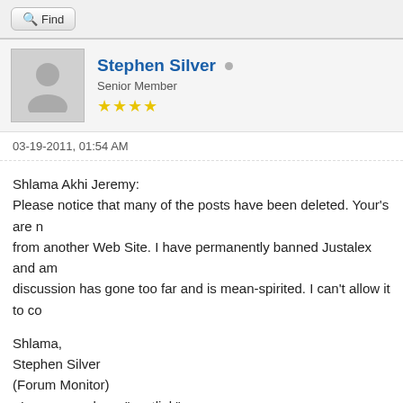Find
Stephen Silver • Senior Member ★★★★
03-19-2011, 01:54 AM
Shlama Akhi Jeremy:
Please notice that many of the posts have been deleted. Your's are n... from another Web Site. I have permanently banned Justalex and am... discussion has gone too far and is mean-spirited. I can't allow it to co...

Shlama,
Stephen Silver
(Forum Monitor)
<!-- w --><a class="postlink" href="http://www.peshitta.org">www.pes...
Find
Burning one •